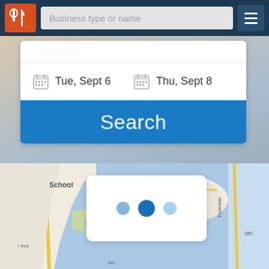[Figure (screenshot): App header bar with orange logo icon, 'Business type or name' search input, and hamburger menu button on dark navy background]
Business type or name
Tue, Sept 6
Thu, Sept 8
Search
[Figure (map): Google Maps style map showing a coastal area with water, roads, and a neighborhood labeled School, with streets including Esplanade and r Ave visible]
[Figure (infographic): Loading spinner overlay with three dots in varying shades of blue on white card]